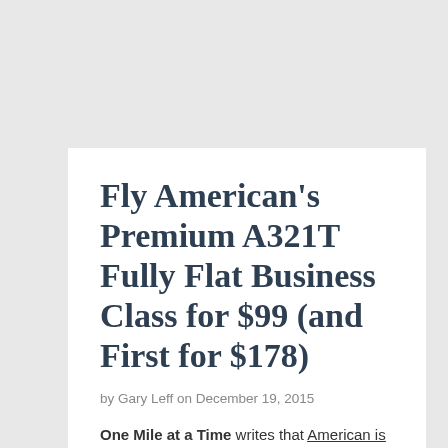Fly American's Premium A321T Fully Flat Business Class for $99 (and First for $178)
by Gary Leff on December 19, 2015
One Mile at a Time writes that American is flying its premium-configured Airbus A321Ts between New York JFK and Boston. Most of its flights between the two airports through